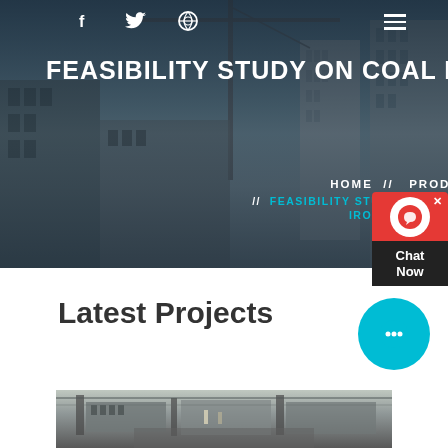[Figure (photo): Hero background photograph of a construction site with cranes and tall buildings under dark overlay]
f  🐦  ⊕  ≡
FEASIBILITY STUDY ON COAL BA...
HOME  //  PRODUCTS  //  FEASIBILITY STUDY ON COAL BASED SPONGE IRON PRODUCTION
[Figure (screenshot): Red chat widget with headset icon and Chat Now text]
Latest Projects
[Figure (screenshot): Blue circular chat bubble with ellipsis icon]
[Figure (photo): Industrial facility interior photograph at bottom of page]